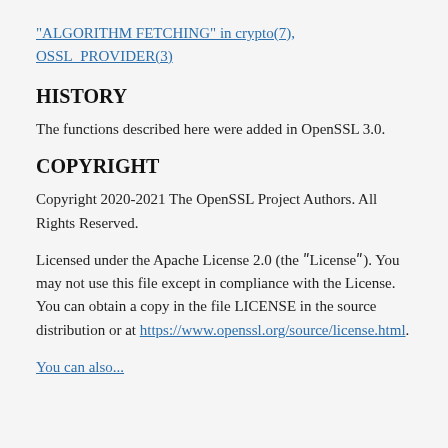"ALGORITHM FETCHING" in crypto(7), OSSL_PROVIDER(3)
HISTORY
The functions described here were added in OpenSSL 3.0.
COPYRIGHT
Copyright 2020-2021 The OpenSSL Project Authors. All Rights Reserved.
Licensed under the Apache License 2.0 (the “License”). You may not use this file except in compliance with the License. You can obtain a copy in the file LICENSE in the source distribution or at https://www.openssl.org/source/license.html.
You can also...